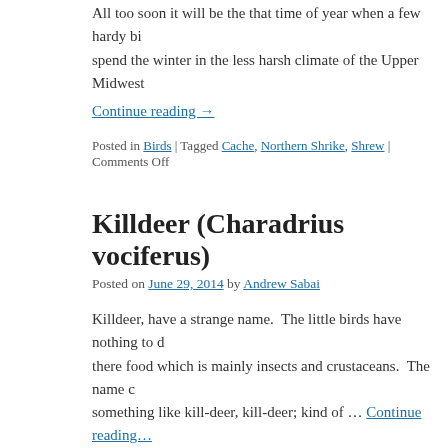All too soon it will be the that time of year when a few hardy bi… spend the winter in the less harsh climate of the Upper Midwest
Continue reading →
Posted in Birds | Tagged Cache, Northern Shrike, Shrew | Comments Off
Killdeer (Charadrius vociferus)
Posted on June 29, 2014 by Andrew Sabai
Killdeer, have a strange name. The little birds have nothing to d… there food which is mainly insects and crustaceans. The name c… something like kill-deer, kill-deer; kind of … Continue reading…
Posted in Birds, Photo of the Week | Tagged Birds, Killdeer, photo | Commen…
Bird Surveys on Lake Butte des Morts: N
Posted on March 25, 2014 by Andrew Sabai